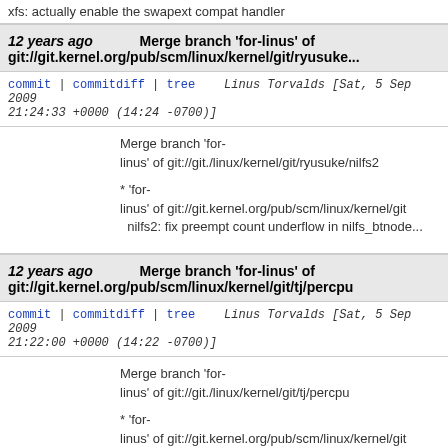xfs: actually enable the swapext compat handler
12 years ago   Merge branch 'for-linus' of git://git.kernel.org/pub/scm/linux/kernel/git/ryusuke...
commit | commitdiff | tree   Linus Torvalds [Sat, 5 Sep 2009 21:24:33 +0000 (14:24 -0700)]
Merge branch 'for-linus' of git://git./linux/kernel/git/ryusuke/nilfs2

* 'for-linus' of git://git.kernel.org/pub/scm/linux/kernel/git...
  nilfs2: fix preempt count underflow in nilfs_btnode...
12 years ago   Merge branch 'for-linus' of git://git.kernel.org/pub/scm/linux/kernel/git/tj/percpu
commit | commitdiff | tree   Linus Torvalds [Sat, 5 Sep 2009 21:22:00 +0000 (14:22 -0700)]
Merge branch 'for-linus' of git://git./linux/kernel/git/tj/percpu

* 'for-linus' of git://git.kernel.org/pub/scm/linux/kernel/git...
  percpu: don't assume existence of cpu0